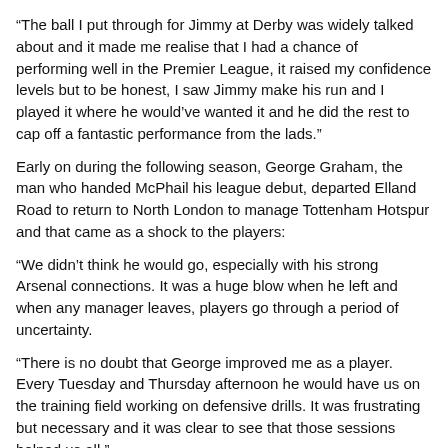“The ball I put through for Jimmy at Derby was widely talked about and it made me realise that I had a chance of performing well in the Premier League, it raised my confidence levels but to be honest, I saw Jimmy make his run and I played it where he would’ve wanted it and he did the rest to cap off a fantastic performance from the lads.”
Early on during the following season, George Graham, the man who handed McPhail his league debut, departed Elland Road to return to North London to manage Tottenham Hotspur and that came as a shock to the players:
“We didn’t think he would go, especially with his strong Arsenal connections. It was a huge blow when he left and when any manager leaves, players go through a period of uncertainty.
“There is no doubt that George improved me as a player. Every Tuesday and Thursday afternoon he would have us on the training field working on defensive drills. It was frustrating but necessary and it was clear to see that those sessions helped us all.”
Due to the previous seasons fourth place finish, Leeds had qualified for the UEFA Cup and McPhail would taste European club football for the first time when he was selected to start the game away in Rome in the second round:
“What an experience that was! I was in the hotel on the night before the game not knowing if I would be involved as David O’Leary didn’t name the side until the morning of the game,
“I woke up, had breakfast and saw the team sheet. I was in the starting